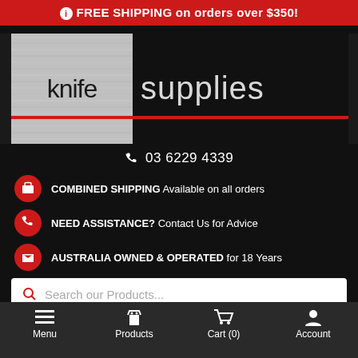FREE SHIPPING on orders over $350!
[Figure (logo): Knife Supplies logo: left side brushed metal texture with 'knife' text, right side black with 'supplies' text, red horizontal dividing line]
03 6229 4339
COMBINED SHIPPING Available on all orders
NEED ASSISTANCE? Contact Us for Advice
AUSTRALIA OWNED & OPERATED for 18 Years
Search our Products...
Menu   Products   Cart (0)   Account